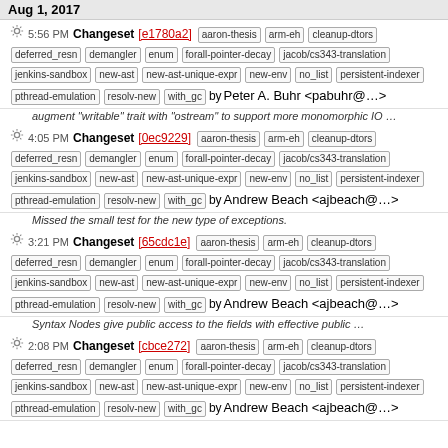Aug 1, 2017
5:56 PM Changeset [e1780a2] aaron-thesis arm-eh cleanup-dtors deferred_resn demangler enum forall-pointer-decay jacob/cs343-translation jenkins-sandbox new-ast new-ast-unique-expr new-env no_list persistent-indexer pthread-emulation resolv-new with_gc by Peter A. Buhr <pabuhr@...>
augment "writable" trait with "ostream" to support more monomorphic IO ...
4:05 PM Changeset [0ec9229] aaron-thesis arm-eh cleanup-dtors deferred_resn demangler enum forall-pointer-decay jacob/cs343-translation jenkins-sandbox new-ast new-ast-unique-expr new-env no_list persistent-indexer pthread-emulation resolv-new with_gc by Andrew Beach <ajbeach@...>
Missed the small test for the new type of exceptions.
3:21 PM Changeset [65cdc1e] aaron-thesis arm-eh cleanup-dtors deferred_resn demangler enum forall-pointer-decay jacob/cs343-translation jenkins-sandbox new-ast new-ast-unique-expr new-env no_list persistent-indexer pthread-emulation resolv-new with_gc by Andrew Beach <ajbeach@...>
Syntax Nodes give public access to the fields with effective public ...
2:08 PM Changeset [cbce272] aaron-thesis arm-eh cleanup-dtors deferred_resn demangler enum forall-pointer-decay jacob/cs343-translation jenkins-sandbox new-ast new-ast-unique-expr new-env no_list persistent-indexer pthread-emulation resolv-new with_gc by Andrew Beach <ajbeach@...>